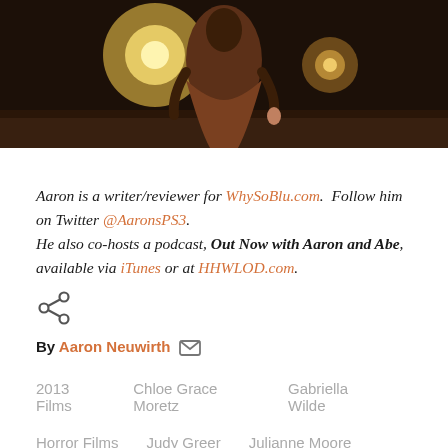[Figure (photo): A person in a brown/rust colored robe or dress standing in a dark outdoor setting with bokeh lights in the background]
Aaron is a writer/reviewer for WhySoBlu.com.  Follow him on Twitter @AaronsPS3.
He also co-hosts a podcast, Out Now with Aaron and Abe, available via iTunes or at HHWLOD.com.
[Figure (other): Share icon (less-than style arrow share symbol)]
By Aaron Neuwirth
2013 Films
Chloe Grace Moretz
Gabriella Wilde
Horror Films
Judy Greer
Julianne Moore
Portia Doubleday
Remake
Stephen King
Thriller